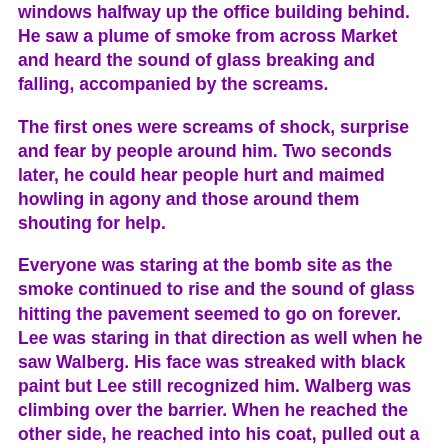windows halfway up the office building behind. He saw a plume of smoke from across Market and heard the sound of glass breaking and falling, accompanied by the screams.
The first ones were screams of shock, surprise and fear by people around him. Two seconds later, he could hear people hurt and maimed howling in agony and those around them shouting for help.
Everyone was staring at the bomb site as the smoke continued to rise and the sound of glass hitting the pavement seemed to go on forever. Lee was staring in that direction as well when he saw Walberg. His face was streaked with black paint but Lee still recognized him. Walberg was climbing over the barrier. When he reached the other side, he reached into his coat, pulled out a gun and started walking toward the yellow Cadillac.
Lee pushed through the people in front of him and jumped the barrier. He started after Walberg. He saw